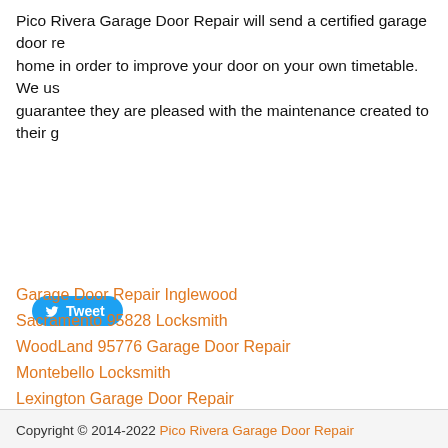Pico Rivera Garage Door Repair will send a certified garage door repair technician to your home in order to improve your door on your own timetable. We us... guarantee they are pleased with the maintenance created to their g...
[Figure (other): Twitter Tweet button with bird icon and 'Tweet' text on blue pill-shaped button]
Garage Door Repair Inglewood
Sacramento 95828 Locksmith
WoodLand 95776 Garage Door Repair
Montebello Locksmith
Lexington Garage Door Repair
Copyright © 2014-2022 Pico Rivera Garage Door Repair